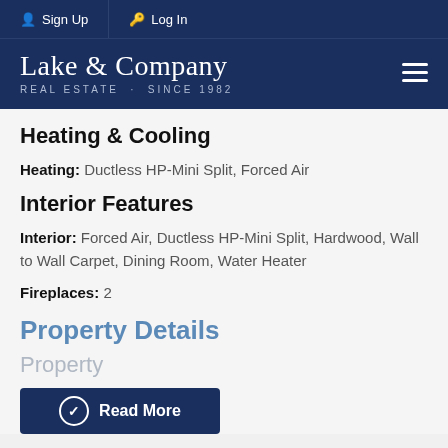Sign Up | Log In
[Figure (logo): Lake & Company Real Estate Since 1982 logo on dark navy background with hamburger menu icon]
Heating & Cooling
Heating: Ductless HP-Mini Split, Forced Air
Interior Features
Interior: Forced Air, Ductless HP-Mini Split, Hardwood, Wall to Wall Carpet, Dining Room, Water Heater
Fireplaces: 2
Property Details
Property
Read More